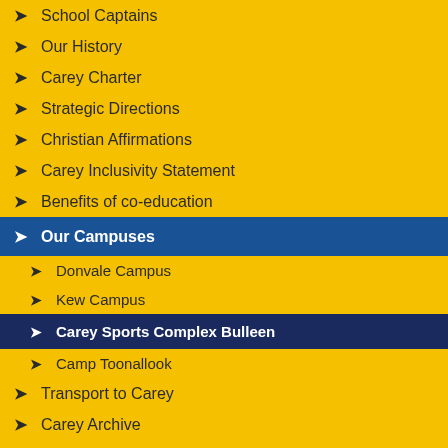School Captains
Our History
Carey Charter
Strategic Directions
Christian Affirmations
Carey Inclusivity Statement
Benefits of co-education
Our Campuses
Donvale Campus
Kew Campus
Carey Sports Complex Bulleen
Camp Toonallook
Transport to Carey
Carey Archive